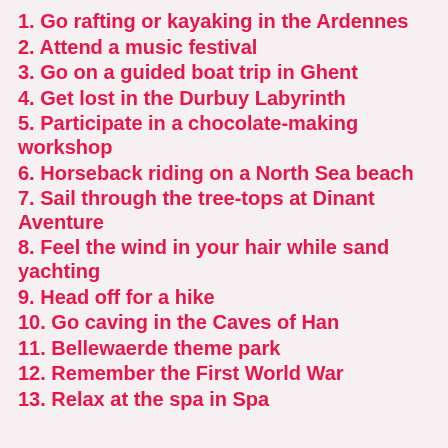1. Go rafting or kayaking in the Ardennes
2. Attend a music festival
3. Go on a guided boat trip in Ghent
4. Get lost in the Durbuy Labyrinth
5. Participate in a chocolate-making workshop
6. Horseback riding on a North Sea beach
7. Sail through the tree-tops at Dinant Aventure
8. Feel the wind in your hair while sand yachting
9. Head off for a hike
10. Go caving in the Caves of Han
11. Bellewaerde theme park
12. Remember the First World War
13. Relax at the spa in Spa